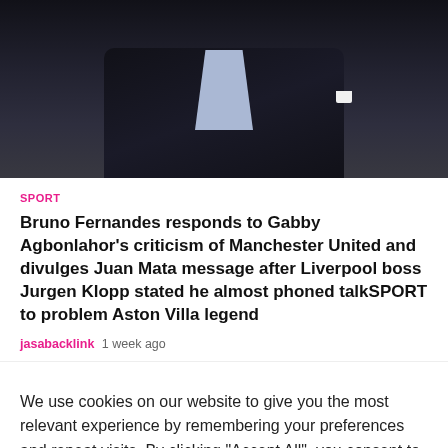[Figure (photo): Photo of a man in a dark suit jacket with light blue shirt, dark background]
SPORT
Bruno Fernandes responds to Gabby Agbonlahor's criticism of Manchester United and divulges Juan Mata message after Liverpool boss Jurgen Klopp stated he almost phoned talkSPORT to problem Aston Villa legend
jasabacklink   1 week ago
We use cookies on our website to give you the most relevant experience by remembering your preferences and repeat visits. By clicking "Accept All", you consent to the use of ALL the cookies. However, you may visit "Cookie Settings" to provide a controlled consent.